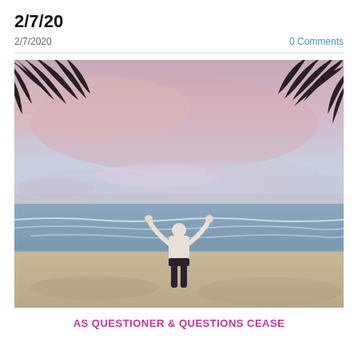2/7/20
2/7/2020
0 Comments
[Figure (photo): A person standing on a beach at sunrise or sunset with arms raised above their head, facing the ocean. Palm tree fronds hang from the top of the frame. The sky is pastel pink and blue with scattered clouds and waves visible in the background.]
AS QUESTIONER & QUESTIONS CEASE